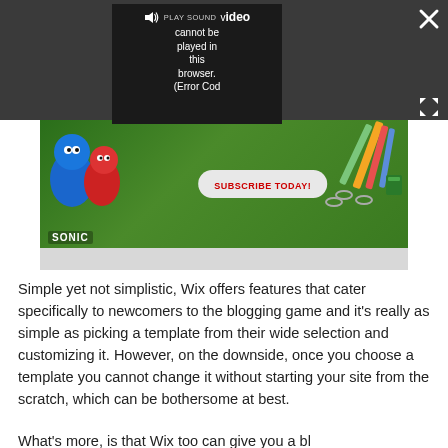[Figure (screenshot): Dark top bar with video player overlay showing 'PLAY SOUND' button and error message 'Video cannot be played in this browser. (Error Cod' on a dark background, with a close X button top-right and expand arrows button bottom-right.]
[Figure (screenshot): Advertisement banner for Sonic subscription promotion with green background, Sonic characters on left, colored pencils and school supplies on right, and a red 'SUBSCRIBE TODAY!' button in the center. Below the banner is a gray strip.]
Simple yet not simplistic, Wix offers features that cater specifically to newcomers to the blogging game and it's really as simple as picking a template from their wide selection and customizing it. However, on the downside, once you choose a template you cannot change it without starting your site from the scratch, which can be bothersome at best.
What's more, is that Wix too can give you a bl...